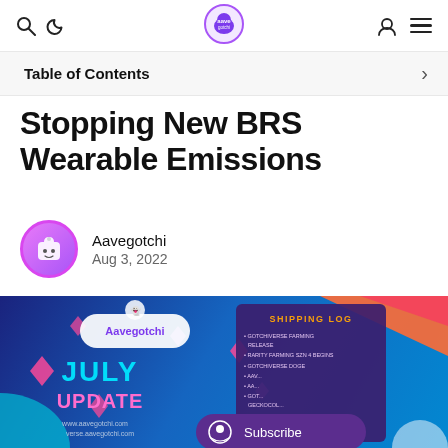Aavegotchi navigation bar with search, moon icon, logo, user icon, and menu
Table of Contents
Stopping New BRS Wearable Emissions
Aavegotchi
Aug 3, 2022
[Figure (illustration): Aavegotchi July Update banner image with blue background, pink diamond shapes, ghost character, 'JULY UPDATE' text, Aavegotchi logo, shipping log panel, and Subscribe button overlay]